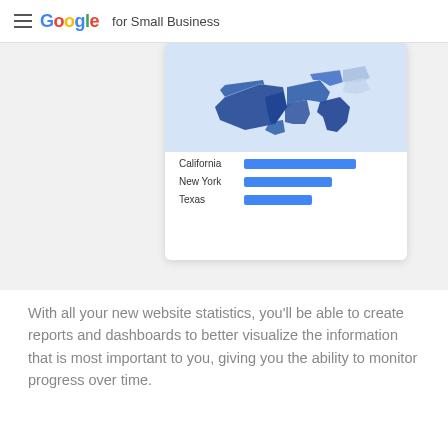Google for Small Business
[Figure (map): Partial US map showing state-level data with shades of blue, prominently showing Texas and southeastern states.]
[Figure (bar-chart): Top States]
With all your new website statistics, you'll be able to create reports and dashboards to better visualize the information that is most important to you, giving you the ability to monitor progress over time.